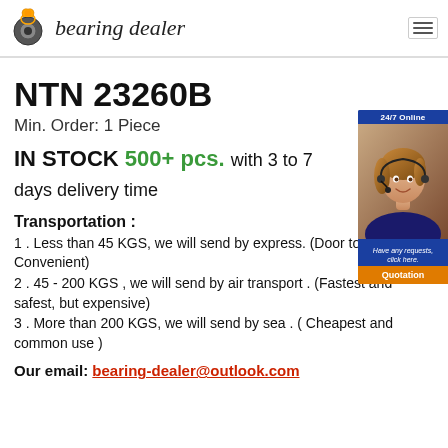bearing dealer
NTN 23260B
Min. Order: 1 Piece
IN STOCK 500+ pcs. with 3 to 7 days delivery time
Transportation :
1 . Less than 45 KGS, we will send by express. (Door to Door, Convenient)
2 . 45 - 200 KGS , we will send by air transport . (Fastest and safest, but expensive)
3 . More than 200 KGS, we will send by sea . ( Cheapest and common use )
Our email: bearing-dealer@outlook.com
[Figure (photo): 24/7 online chat widget with customer service representative photo and Quotation button]